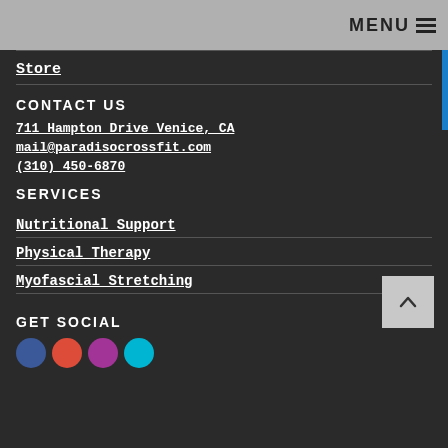MENU
Store
CONTACT US
711 Hampton Drive Venice, CA
mail@paradisocrossfit.com
(310) 450-6870
SERVICES
Nutritional Support
Physical Therapy
Myofascial Stretching
GET SOCIAL
[Figure (illustration): Social media icons: Facebook, Google+, Instagram, Twitter]